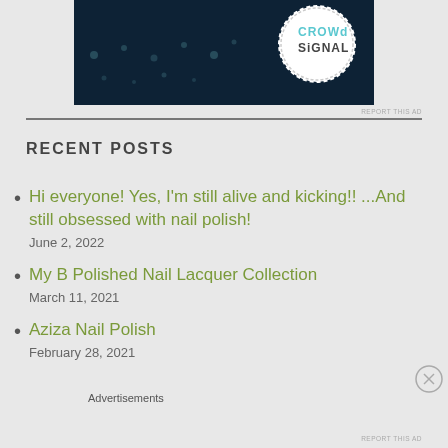[Figure (logo): Ad banner with dark navy background, decorative dots, and Crowd Signal circular logo in top right]
RECENT POSTS
Hi everyone! Yes, I'm still alive and kicking!! ...And still obsessed with nail polish!
June 2, 2022
My B Polished Nail Lacquer Collection
March 11, 2021
Aziza Nail Polish
February 28, 2021
Advertisements